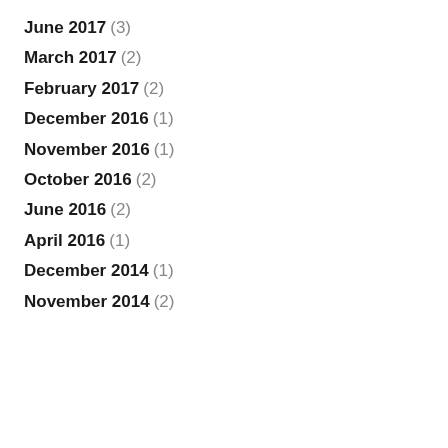June 2017 (3)
March 2017 (2)
February 2017 (2)
December 2016 (1)
November 2016 (1)
October 2016 (2)
June 2016 (2)
April 2016 (1)
December 2014 (1)
November 2014 (2)